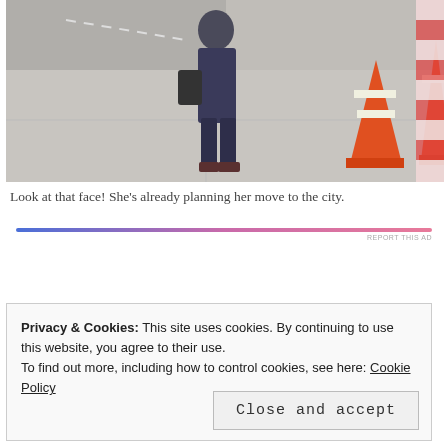[Figure (photo): Person in denim jacket and jeans standing on a city sidewalk, viewed from behind at an angle. Orange traffic cones visible on the right side.]
Look at that face! She's already planning her move to the city.
[Figure (infographic): Horizontal gradient bar from blue to pink with REPORT THIS AD text on the right]
Privacy & Cookies: This site uses cookies. By continuing to use this website, you agree to their use.
To find out more, including how to control cookies, see here: Cookie Policy
Close and accept